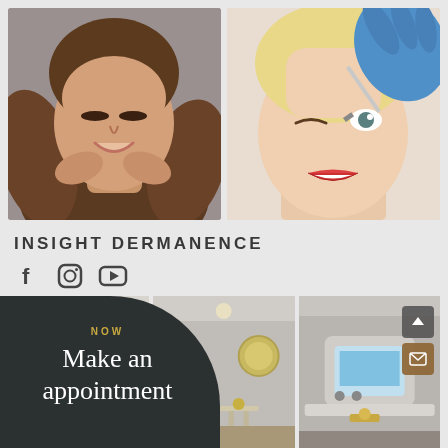[Figure (photo): Two photos side by side at top: left shows a smiling brunette woman with wavy hair resting her face on her hands; right shows a smiling woman with red lipstick receiving a botox/filler injection near her eye from a blue-gloved hand]
INSIGHT DERMANENCE
[Figure (infographic): Social media icons: Facebook (f), Instagram (circle with rounded square), YouTube (play button triangle)]
[Figure (photo): Interior photos of a medical aesthetic clinic showing treatment rooms with white furniture, chandelier, and equipment]
NOW
Make an appointment